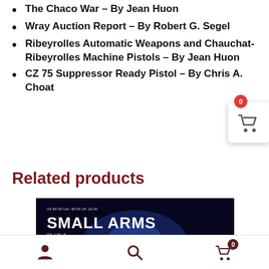The Chaco War – By Jean Huon
Wray Auction Report – By Robert G. Segel
Ribeyrolles Automatic Weapons and Chauchat-Ribeyrolles Machine Pistols – By Jean Huon
CZ 75 Suppressor Ready Pistol – By Chris A. Choat
Related products
[Figure (photo): Small Arms Review magazine cover, Vol. 1 No. 4, January 1998, showing 'Beta C-Mag Exposed', 'Aberdeen Museum', 'Gene Stoner's 70th Birthday ArmaLite' on a dark blue background with stylized gun imagery]